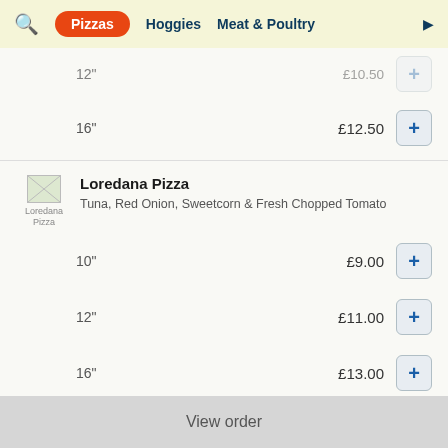Pizzas | Hoggies | Meat & Poultry
12" £10.50
16" £12.50
[Figure (photo): Loredana Pizza thumbnail image]
Loredana Pizza
Tuna, Red Onion, Sweetcorn & Fresh Chopped Tomato
10" £9.00
12" £11.00
16" £13.00
View order